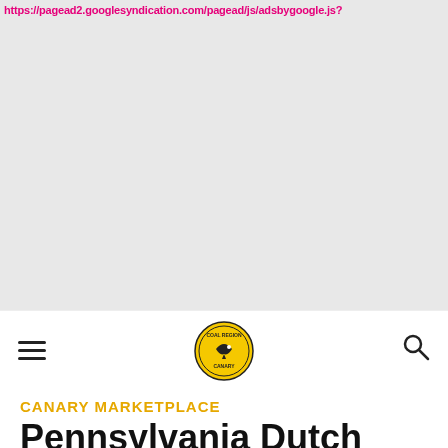[Figure (screenshot): Gray advertisement banner area with pink/magenta URL text at the top reading https://pagead2.googlesyndication.com/pagead/js/adsbygoogle.js?]
CANARY MARKETPLACE
Pennsylvania Dutch